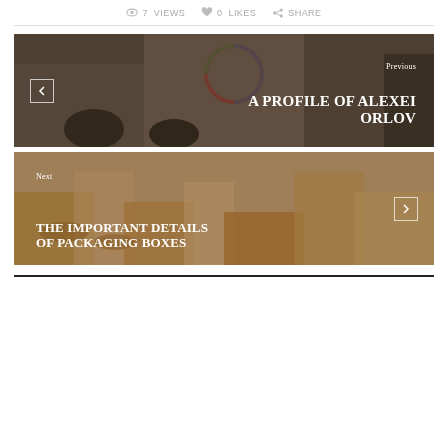7 VIEWS   0 LIKES   SHARE
[Figure (photo): Previous navigation block with a photo of people in a business meeting in front of a presentation board. Text overlay: Previous / A PROFILE OF ALEXEI ORLOV]
[Figure (photo): Next navigation block with a photo of cardboard packaging boxes. Text overlay: Next / THE IMPORTANT DETAILS OF PACKAGING BOXES]